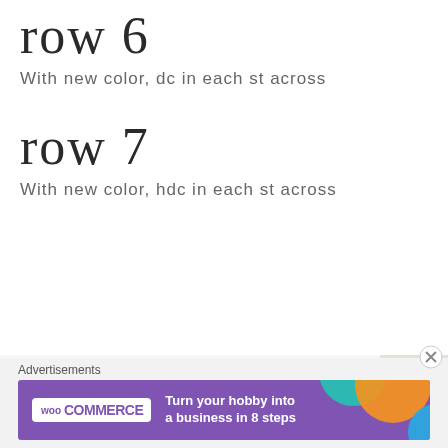row 6
With new color, dc in each st across
row 7
With new color, hdc in each st across
[Figure (photo): Close-up photo of colorful crochet rows in red, cream/white, blue, and lavender/purple yarn, showing different crochet stitches.]
Advertisements
[Figure (screenshot): WooCommerce advertisement banner with purple background: WooCommerce logo on left, text 'Turn your hobby into a business in 8 steps', colorful circular shapes on right]